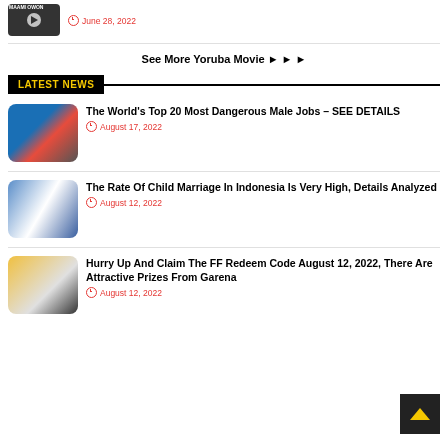[Figure (photo): Video thumbnail with play button showing MAAMI OWON text]
June 28, 2022
See More Yoruba Movie ► ► ►
LATEST NEWS
[Figure (photo): News thumbnail showing dangerous job scene with water]
The World's Top 20 Most Dangerous Male Jobs – SEE DETAILS
August 17, 2022
[Figure (photo): News thumbnail showing people in indoor setting]
The Rate Of Child Marriage In Indonesia Is Very High, Details Analyzed
August 12, 2022
[Figure (photo): News thumbnail with yellow background showing Situs Redeem Hdi]
Hurry Up And Claim The FF Redeem Code August 12, 2022, There Are Attractive Prizes From Garena
August 12, 2022